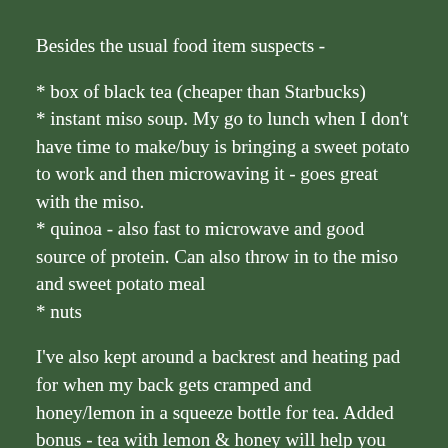Besides the usual food item suspects -
* box of black tea (cheaper than Starbucks)
* instant miso soup. My go to lunch when I don't have time to make/buy is bringing a sweet potato to work and then microwaving it - goes great with the miso.
* quinoa - also fast to microwave and good source of protein. Can also throw in to the miso and sweet potato meal
* nuts
I've also kept around a backrest and heating pad for when my back gets cramped and honey/lemon in a squeeze bottle for tea. Added bonus - tea with lemon & honey will help you get through the day if you're nursing a cold.
Organizational items - label maker and Ikea Spatan